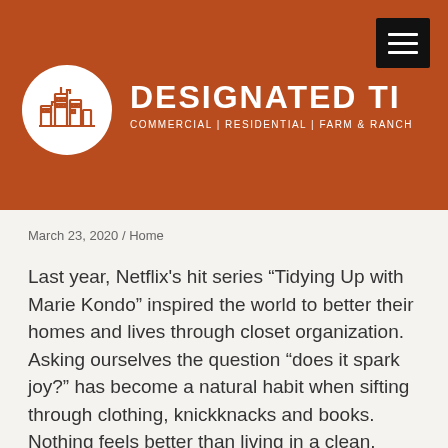[Figure (logo): Designated Tile logo banner with orange/rust background, white circular logo with building/skyline icon on left, brand name DESIGNATED TILE in large white bold letters, tagline COMMERCIAL | RESIDENTIAL | FARM & RANCH below, hamburger menu button top right]
March 23, 2020 / Home
Last year, Netflix’s hit series “Tidying Up with Marie Kondo” inspired the world to better their homes and lives through closet organization. Asking ourselves the question “does it spark joy?” has become a natural habit when sifting through clothing, knickknacks and books. Nothing feels better than living in a clean, decluttered home. Social